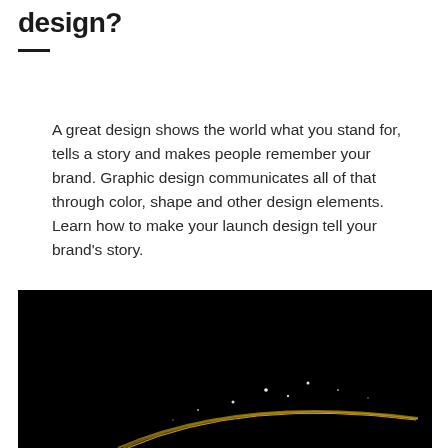design?
A great design shows the world what you stand for, tells a story and makes people remember your brand. Graphic design communicates all of that through color, shape and other design elements. Learn how to make your launch design tell your brand's story.
[Figure (photo): Dark black background image with a faint curved yellow/gold streak of light at the bottom and small bright white dots resembling stars, creating an abstract space or night sky aesthetic.]